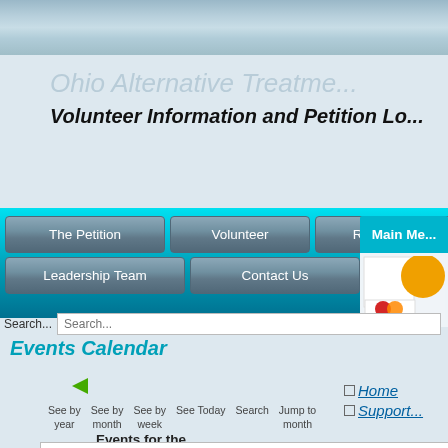[Figure (screenshot): Top metallic/silver gradient banner area of website]
Ohio Alternative Treatme...
Volunteer Information and Petition Lo...
[Figure (screenshot): Navigation bar with cyan/teal background containing buttons: The Petition, Volunteer, Resources, Where to A..., Leadership Team, Contact Us, Quiz, and Main Me... sidebar]
Search... Search...
Events Calendar
See by year  See by month  See by week  See Today  Search  Jump to month
Events for the
Home
Support...